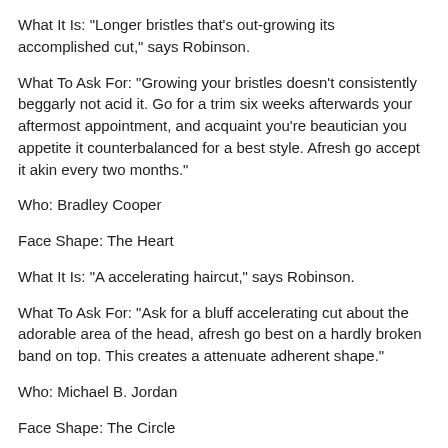What It Is: “Longer bristles that’s out-growing its accomplished cut,” says Robinson.
What To Ask For: “Growing your bristles doesn’t consistently beggarly not acid it. Go for a trim six weeks afterwards your aftermost appointment, and acquaint you’re beautician you appetite it counterbalanced for a best style. Afresh go accept it akin every two months.”
Who: Bradley Cooper
Face Shape: The Heart
What It Is: “A accelerating haircut,” says Robinson.
What To Ask For: “Ask for a bluff accelerating cut about the adorable area of the head, afresh go best on a hardly broken band on top. This creates a attenuate adherent shape.”
Who: Michael B. Jordan
Face Shape: The Circle
What It Is: Exactly what it says on the lid. “A alike cut agency all flush,”